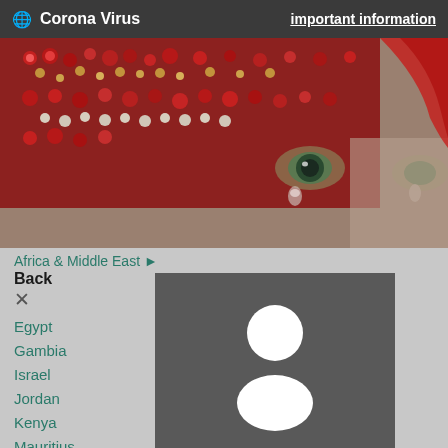Corona Virus  important information
[Figure (photo): Close-up photo of a woman's face decorated with red jeweled ornaments and pearls, with striking eyes visible]
Africa & Middle East ▶
Back
×
Egypt
Gambia
Israel
Jordan
Kenya
Mauritius
Morocco
Namibia
Oman
[Figure (illustration): Grey square with a white person/profile silhouette icon (circle head and body shape)]